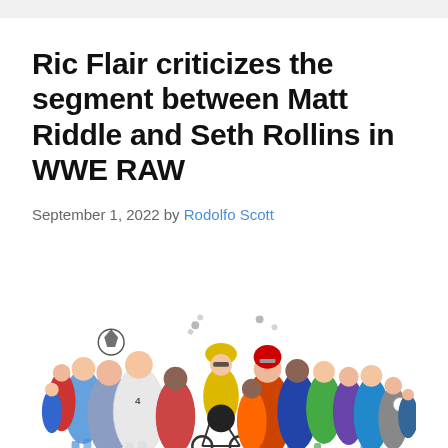Ric Flair criticizes the segment between Matt Riddle and Seth Rollins in WWE RAW
September 1, 2022 by Rodolfo Scott
[Figure (photo): A collage of multiple athletes from various sports including cycling, soccer, football, running, and other sports. A cyclist in a yellow jersey and helmet is prominent in the center-front, surrounded by a crowd of athletes in various uniforms and action poses against a white background.]